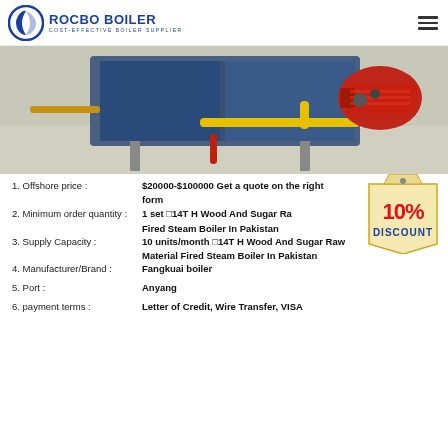[Figure (logo): Rocbo Boiler logo with text ROCBO BOILER and tagline COST-EFFECTIVE BOILER SUPPLIER]
[Figure (photo): Industrial boiler equipment with yellow pipes and red burner in a warehouse setting]
1. Offshore price : $20000-$100000 Get a quote on the right form
2. Minimum order quantity : 1 set □14T H Wood And Sugar Raw Fired Steam Boiler In Pakistan
3. Supply Capacity : 10 units/month □14T H Wood And Sugar Raw Material Fired Steam Boiler In Pakistan
4. Manufacturer/Brand : Fangkuai boiler
5. Port : Anyang
6. payment terms : Letter of Credit, Wire Transfer, VISA